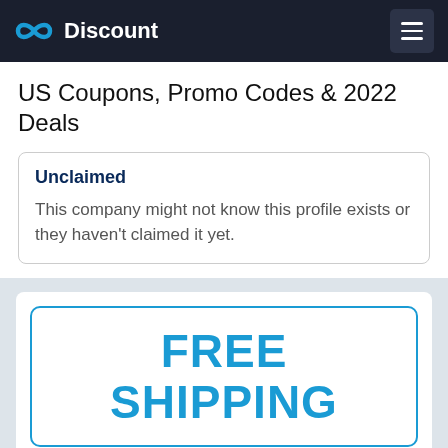Discount
US Coupons, Promo Codes & 2022 Deals
Unclaimed
This company might not know this profile exists or they haven't claimed it yet.
[Figure (other): FREE SHIPPING promotional banner with bold teal text inside a rounded rectangle border]
FREE Shipping On $50 Or More
Free Standard US Delivery with $50 or more spent on your purchase!